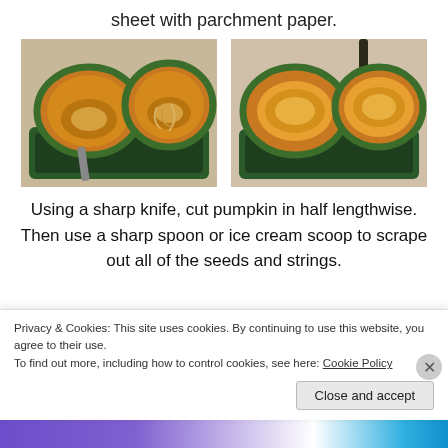sheet with parchment paper.
[Figure (photo): Photo of pumpkin cut in half lengthwise, face down on a green baking tray, showing seeds and strings before removal]
[Figure (photo): Photo of pumpkin cut in half lengthwise, face up on a green baking tray, showing cleaned-out interior after seed removal]
Using a sharp knife, cut pumpkin in half lengthwise. Then use a sharp spoon or ice cream scoop to scrape out all of the seeds and strings.
Privacy & Cookies: This site uses cookies. By continuing to use this website, you agree to their use.
To find out more, including how to control cookies, see here: Cookie Policy
Close and accept